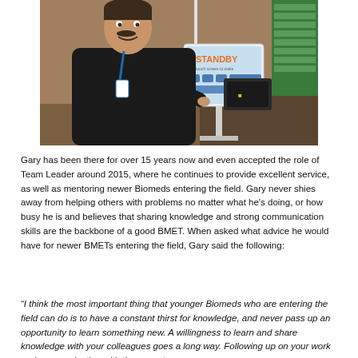[Figure (photo): A man with a mustache wearing a black shirt and ID badge, smiling and pointing at a medical device screen showing 'STANDBY' in a clinical setting.]
Gary has been there for over 15 years now and even accepted the role of Team Leader around 2015, where he continues to provide excellent service, as well as mentoring newer Biomeds entering the field. Gary never shies away from helping others with problems no matter what he's doing, or how busy he is and believes that sharing knowledge and strong communication skills are the backbone of a good BMET. When asked what advice he would have for newer BMETs entering the field, Gary said the following:
“I think the most important thing that younger Biomeds who are entering the field can do is to have a constant thirst for knowledge, and never pass up an opportunity to learn something new. A willingness to learn and share knowledge with your colleagues goes a long way. Following up on your work and communicating with the users to